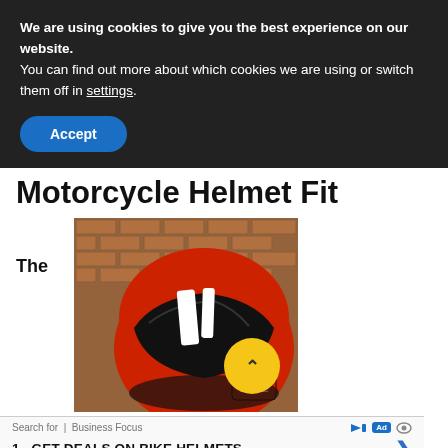We are using cookies to give you the best experience on our website.
You can find out more about which cookies we are using or switch them off in settings.
Accept
Motorcycle Helmet Fit
The
[Figure (photo): Red and black Bell motorcycle helmet photographed against a brick wall background, with a yellow circular scroll-up button overlaid in the bottom right]
Search for | Business Focus
1. GET DEALS ON BIKE HELMETS